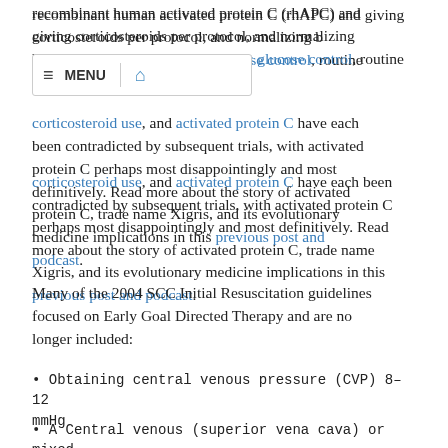recombinant human activated protein C (rhAPC) and giving corticosteroids per protocol, and normalizing b[locked by nav]ht glucose control, routine corticosteroid use, and activated protein C have each been contradicted by subsequent trials, with activated protein C perhaps most disappointingly and most definitively. Read more about the story of activated protein C, trade name Xigris, and its evolutionary medicine implications in this previous post and podcast.
Many of the 2004 SCC Initial Resuscitation guidelines focused on Early Goal Directed Therapy and are no longer included:
• Obtaining central venous pressure (CVP) 8–12 mmHg
• A Central venous (superior vena cava) or mixed venous oxygen saturation of > 70%.